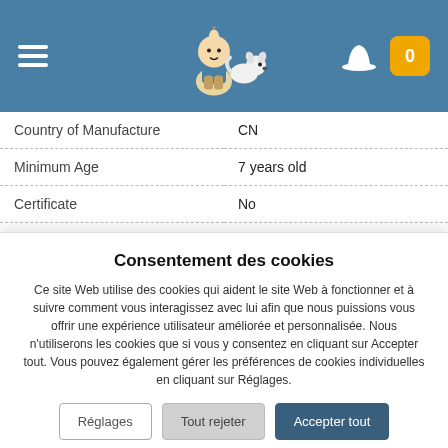Tintin shop header with hamburger menu, logo, hat icon, and cart (0)
| Property | Value |
| --- | --- |
| Country of Manufacture | CN |
| Minimum Age | 7 years old |
| Certificate | No |
| Colour Object | White |
| Kids Product | Yes |
| Free delivery | No |
| Norm | C.E. |
Consentement des cookies
Ce site Web utilise des cookies qui aident le site Web à fonctionner et à suivre comment vous interagissez avec lui afin que nous puissions vous offrir une expérience utilisateur améliorée et personnalisée. Nous n'utiliserons les cookies que si vous y consentez en cliquant sur Accepter tout. Vous pouvez également gérer les préférences de cookies individuelles en cliquant sur Réglages.
Réglages
Tout rejeter
Accepter tout